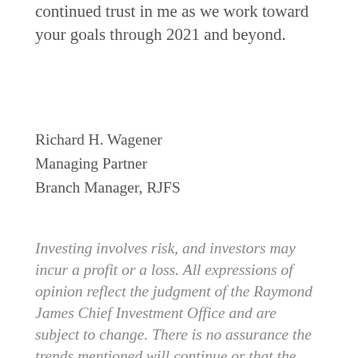continued trust in me as we work toward your goals through 2021 and beyond.
Richard H. Wagener
Managing Partner
Branch Manager, RJFS
Investing involves risk, and investors may incur a profit or a loss. All expressions of opinion reflect the judgment of the Raymond James Chief Investment Office and are subject to change. There is no assurance the trends mentioned will continue or that the forecasts discussed will be realized. Past performance may not be indicative of future results. Economic